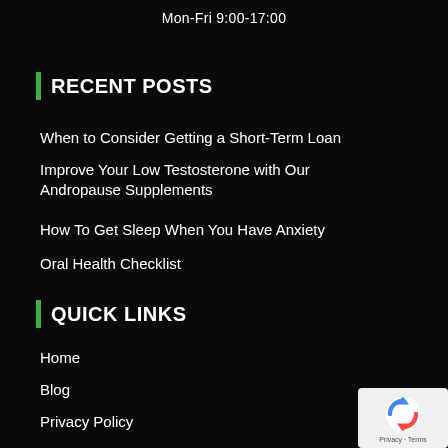Mon-Fri 9:00-17:00
RECENT POSTS
When to Consider Getting a Short-Term Loan
Improve Your Low Testosterone with Our Andropause Supplements
How To Get Sleep When You Have Anxiety
Oral Health Checklist
QUICK LINKS
Home
Blog
Privacy Policy
Contact Us
[Figure (logo): reCAPTCHA badge with circular arrow logo and Privacy - Terms text]